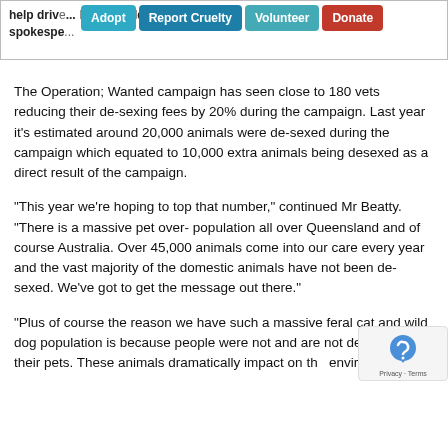its wholehearted support for the RSPCA and the shire councils into help drive the campaign... RSPCA Qld spokesperson...
The Operation; Wanted campaign has seen close to 180 vets reducing their de-sexing fees by 20% during the campaign. Last year it's estimated around 20,000 animals were de-sexed during the campaign which equated to 10,000 extra animals being desexed as a direct result of the campaign.
“This year we’re hoping to top that number,” continued Mr Beatty. “There is a massive pet over- population all over Queensland and of course Australia. Over 45,000 animals come into our care every year and the vast majority of the domestic animals have not been de-sexed. We’ve got to get the message out there.”
“Plus of course the reason we have such a massive feral cat and wild dog population is because people were not and are not de-sexing their pets. These animals dramatically impact on the environment. ”